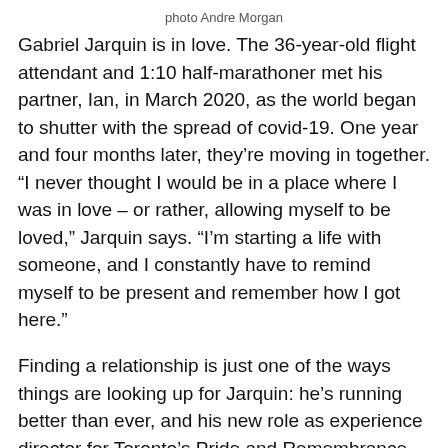photo Andre Morgan
Gabriel Jarquin is in love. The 36-year-old flight attendant and 1:10 half-marathoner met his partner, Ian, in March 2020, as the world began to shutter with the spread of covid-19. One year and four months later, they’re moving in together. “I never thought I would be in a place where I was in love – or rather, allowing myself to be loved,” Jarquin says. “I’m starting a life with someone, and I constantly have to remind myself to be present and remember how I got here.”
Finding a relationship is just one of the ways things are looking up for Jarquin: he’s running better than ever, and his new role as experience director for Toronto’s Pride and Remembrance Run is seeing him give back in a significant way, both to the sport and to the LGBTQ community, which taught him the most